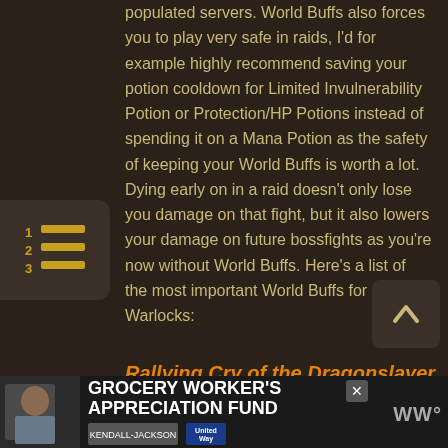populated servers. World Buffs also forces you to play very safe in raids, I'd for example highly recommend saving your potion cooldown for Limited Invulnerability Potion or Protection/HP Potions instead of spending it on a Mana Potion as the safety of keeping your World Buffs is worth a lot. Dying early on in a raid doesn't only lose you damage on that fight, but it also lowers your damage on future bossfights as you're now without World Buffs. Here's a list of the most important World Buffs for Warlocks:
Rallying Cry of the Dragonslayer
[Figure (screenshot): Game tooltip card showing Rallying Cry of the Dragonslayer spell with icon and 50000 yd range text]
[Figure (infographic): Advertisement banner: Grocery Worker's Appreciation Fund with Kendall Jackson and United Way logos]